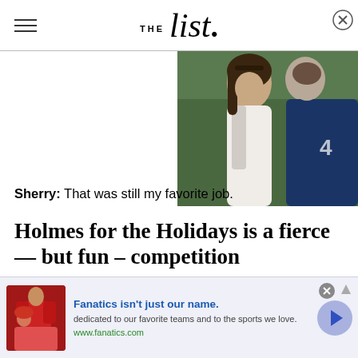THE list.
[Figure (photo): Two people (a woman with long brown hair and a man in a navy polo shirt) standing close together outdoors with green background]
Sherry: That was still my favorite job.
Holmes for the Holidays is a fierce — but fun – competition
[Figure (photo): Advertisement banner: Fanatics isn't just our name. dedicated to our favorite teams and to the sports we love. www.fanatics.com — with product images of sports apparel]